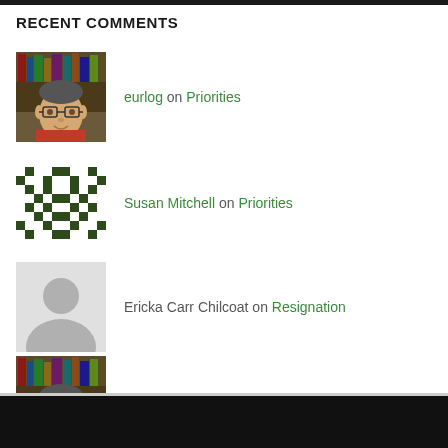RECENT COMMENTS
eurlog on Priorities
Susan Mitchell on Priorities
Ericka Carr Chilcoat on Resignation
eurlog on God's Work
Ericka Carr Chilcoat on God's Work